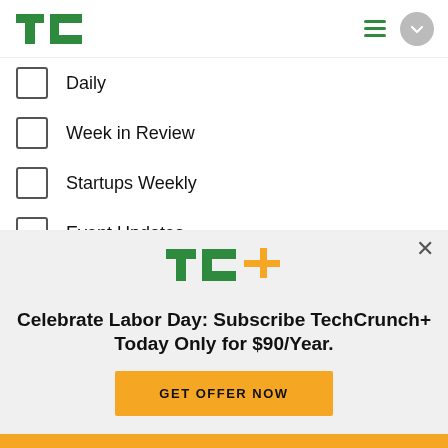TechCrunch logo, hamburger menu, circle button
Daily
Week in Review
Startups Weekly
Event Updates
Advertising Updates
TechCrunch+ Announcements
TechCrunch+ Events
[Figure (logo): TC+ logo in green and yellow]
Celebrate Labor Day: Subscribe TechCrunch+ Today Only for $90/Year.
GET OFFER NOW